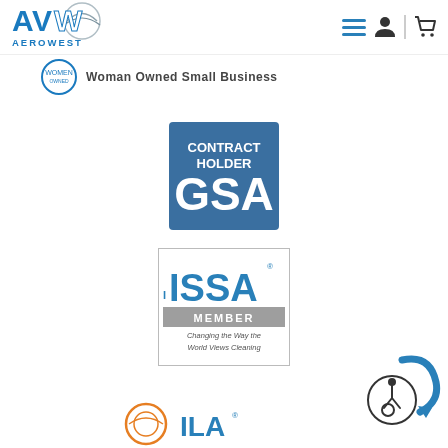[Figure (logo): Aerowest logo with blue stylized AW letters and globe graphic, AEROWEST text below]
[Figure (logo): Navigation icons: hamburger menu, user account, divider, shopping cart]
[Figure (logo): Woman Owned Small Business circular seal partially visible with text]
[Figure (logo): GSA Contract Holder blue square badge with large GSA letters]
[Figure (logo): ISSA Member badge with text Changing the Way the World Views Cleaning]
[Figure (logo): Accessibility widget icon with person in wheelchair and blue arrow graphic]
[Figure (logo): Partial logos at bottom of page]